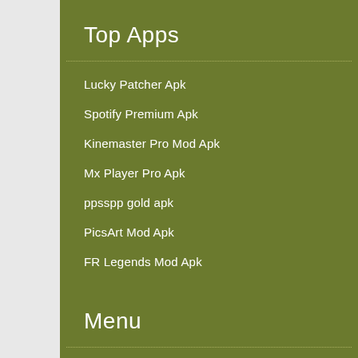Top Apps
Lucky Patcher Apk
Spotify Premium Apk
Kinemaster Pro Mod Apk
Mx Player Pro Apk
ppsspp gold apk
PicsArt Mod Apk
FR Legends Mod Apk
Menu
Home